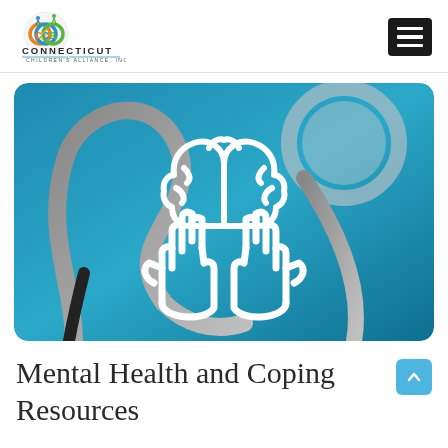CCA Connecticut Children's Alliance, Inc. [navigation header]
[Figure (photo): Blue background with a stethoscope and a white icon overlay of two hands holding a brain, representing mental health and medical care.]
Mental Health and Coping Resources